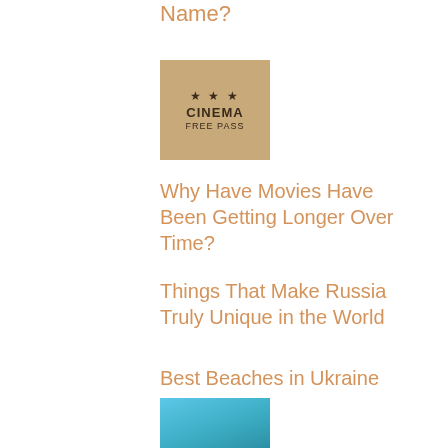Name?
[Figure (photo): Cinema Free Pass thumbnail with stars and text on wooden background]
Why Have Movies Have Been Getting Longer Over Time?
Things That Make Russia Truly Unique in the World
Best Beaches in Ukraine
[Figure (photo): Aerial view of a beach resort with pool and umbrellas]
Top Ukrainian Resorts
Guide to the Types of Boats You Can Rent